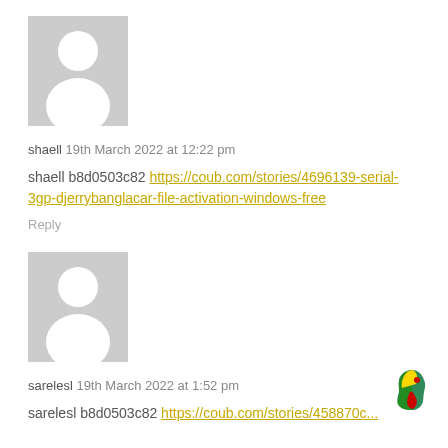[Figure (illustration): Gray default user avatar placeholder for shaell comment]
shaell 19th March 2022 at 12:22 pm
shaell b8d0503c82 https://coub.com/stories/4696139-serial-3gp-djerrybanglacar-file-activation-windows-free
Reply
[Figure (illustration): Gray default user avatar placeholder for sarelesl comment]
sarelesl 19th March 2022 at 1:52 pm
sarelesl b8d0503c82 https://coub.com/stories/4588700...
[Figure (illustration): Africa continent icon in green, red, yellow colors]